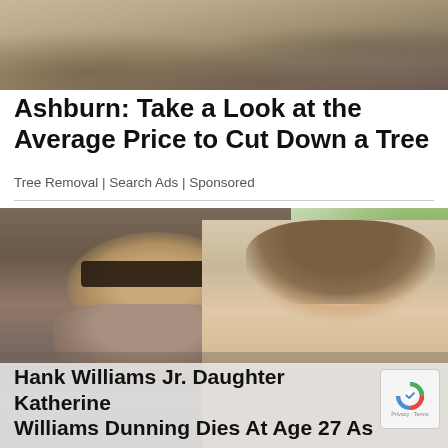[Figure (photo): Top banner photo showing sandy/rocky ground texture, brownish tones]
Ashburn: Take a Look at the Average Price to Cut Down a Tree
Tree Removal | Search Ads | Sponsored
[Figure (photo): Photo of two people smiling: an older bearded man with sunglasses on the left and a young woman on the right, outdoors with trees in background]
Hank Williams Jr. Daughter Katherine Williams Dunning Dies At Age 27 As